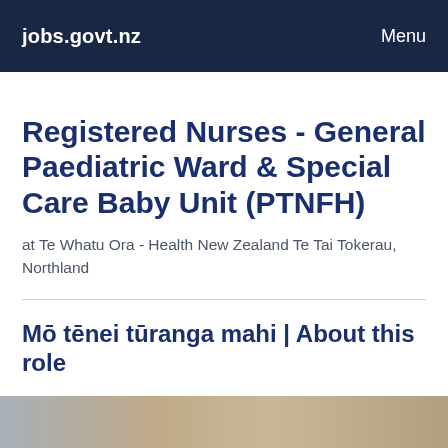jobs.govt.nz    Menu
Registered Nurses - General Paediatric Ward & Special Care Baby Unit (PTNFH)
at Te Whatu Ora - Health New Zealand Te Tai Tokerau, Northland
Mō tēnei tūranga mahi | About this role
[Figure (photo): Blurred image strip at the bottom of the page]